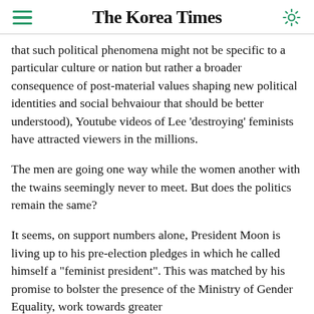The Korea Times
that such political phenomena might not be specific to a particular culture or nation but rather a broader consequence of post-material values shaping new political identities and social behvaiour that should be better understood), Youtube videos of Lee 'destroying' feminists have attracted viewers in the millions.
The men are going one way while the women another with the twains seemingly never to meet. But does the politics remain the same?
It seems, on support numbers alone, President Moon is living up to his pre-election pledges in which he called himself a "feminist president". This was matched by his promise to bolster the presence of the Ministry of Gender Equality, work towards greater